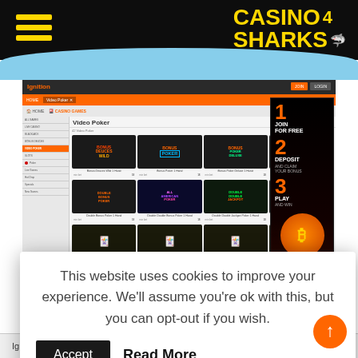CASINO 4 SHARKS (logo with hamburger menu)
[Figure (screenshot): Screenshot of Ignition Casino Video Poker page showing a grid of video poker games including Bonus Deuces Wild, Bonus Poker, Bonus Poker Deluxe, Deuces Wild, Double Bonus Poker, All American Poker, Double Double Bonus Poker, Double Jackpot Poker, and Deuces & Joker variants. Right sidebar shows a promo: 1 JOIN FOR FREE, 2 DEPOSIT AND CLAIM YOUR BONUS, 3 PLAY AND WIN.]
This website uses cookies to improve your experience. We'll assume you're ok with this, but you can opt-out if you wish.
Accept    Read More
Ignition Casino Double Bonus Poker is another vigorous